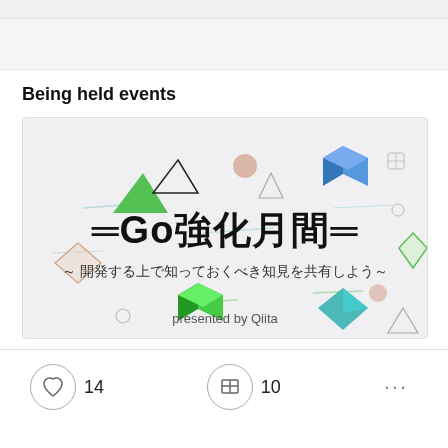Being held events
[Figure (illustration): Event banner for 'Go強化月間' (Go Intensive Month) presented by Qiita, featuring geometric shapes (cubes, triangles, diamonds) in green, blue, and beige on a light gray background with the text '=Go強化月間=' and '～開発する上で知っておくべき知見を共有しよう～' and 'presented by Qiita']
14
10